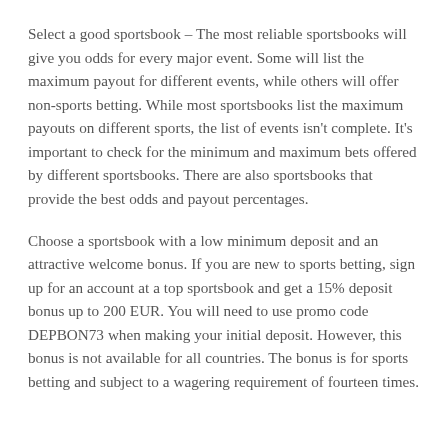Select a good sportsbook – The most reliable sportsbooks will give you odds for every major event. Some will list the maximum payout for different events, while others will offer non-sports betting. While most sportsbooks list the maximum payouts on different sports, the list of events isn't complete. It's important to check for the minimum and maximum bets offered by different sportsbooks. There are also sportsbooks that provide the best odds and payout percentages.
Choose a sportsbook with a low minimum deposit and an attractive welcome bonus. If you are new to sports betting, sign up for an account at a top sportsbook and get a 15% deposit bonus up to 200 EUR. You will need to use promo code DEPBON73 when making your initial deposit. However, this bonus is not available for all countries. The bonus is for sports betting and subject to a wagering requirement of fourteen times.